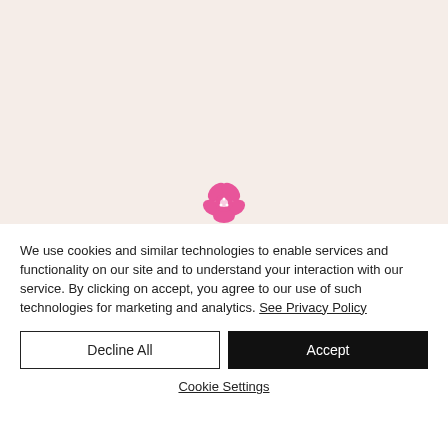[Figure (logo): Pink hibiscus flower logo centered near the top of the cookie banner]
We use cookies and similar technologies to enable services and functionality on our site and to understand your interaction with our service. By clicking on accept, you agree to our use of such technologies for marketing and analytics. See Privacy Policy
Decline All
Accept
Cookie Settings